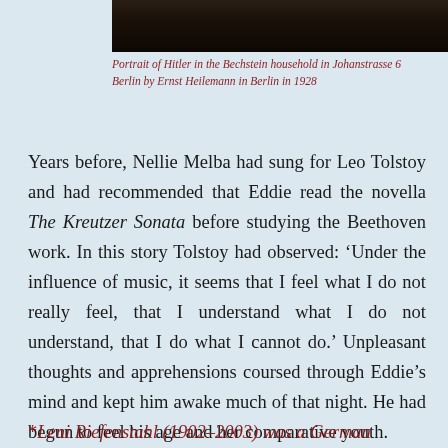[Figure (photo): Dark photograph, partially visible at top of page, appears to be a portrait in a dim/dark setting]
Portrait of Hitler in the Bechstein household in Johanstrasse 6 Berlin by Ernst Heilemann in Berlin in 1928
Years before, Nellie Melba had sung for Leo Tolstoy and had recommended that Eddie read the novella The Kreutzer Sonata before studying the Beethoven work. In this story Tolstoy had observed: ‘Under the influence of music, it seems that I feel what I do not really feel, that I understand what I do not understand, that I do what I cannot do.’ Unpleasant thoughts and apprehensions coursed through Eddie’s mind and kept him awake much of that night. He had begun to feel his age and her comparative youth.
*Leni Riefenstahl (1902–2003) was a German